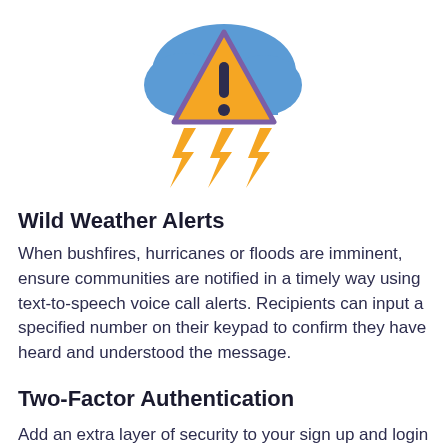[Figure (illustration): A blue cloud with an orange warning triangle with exclamation mark overlaid on it, and three orange lightning bolts below the cloud.]
Wild Weather Alerts
When bushfires, hurricanes or floods are imminent, ensure communities are notified in a timely way using text-to-speech voice call alerts. Recipients can input a specified number on their keypad to confirm they have heard and understood the message.
Two-Factor Authentication
Add an extra layer of security to your sign up and login